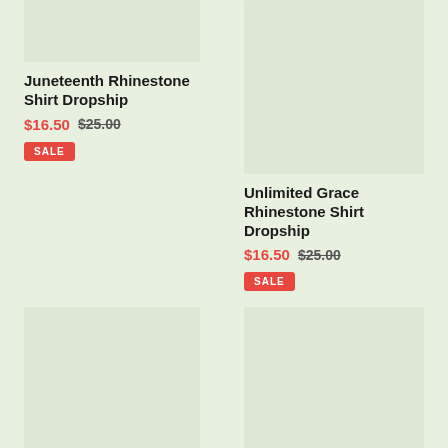[Figure (photo): Product image placeholder for Juneteenth Rhinestone Shirt Dropship]
Juneteenth Rhinestone Shirt Dropship
$16.50 $25.00
SALE
[Figure (photo): Product image placeholder for Unlimited Grace Rhinestone Shirt Dropship]
Unlimited Grace Rhinestone Shirt Dropship
$16.50 $25.00
SALE
[Figure (photo): Product image placeholder for I Am Black History Fist]
I Am Black History Fist
[Figure (photo): Product image placeholder for Mom is Super Rhinestone]
Mom is Super Rhinestone